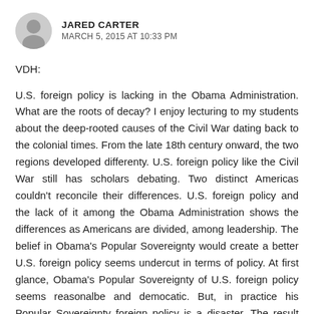JARED CARTER
MARCH 5, 2015 AT 10:33 PM
VDH:
U.S. foreign policy is lacking in the Obama Administration. What are the roots of decay? I enjoy lecturing to my students about the deep-rooted causes of the Civil War dating back to the colonial times. From the late 18th century onward, the two regions developed differenty. U.S. foreign policy like the Civil War still has scholars debating. Two distinct Americas couldn't reconcile their differences. U.S. foreign policy and the lack of it among the Obama Administration shows the differences as Americans are divided, among leadership. The belief in Obama's Popular Sovereignty would create a better U.S. foreign policy seems undercut in terms of policy. At first glance, Obama's Popular Sovereignty of U.S. foreign policy seems reasonalbe and democatic. But, in practice his Popular Sovereignty foreign policy is a disaster. The result during the Civil War was the same violence. Kansas, like Syria for